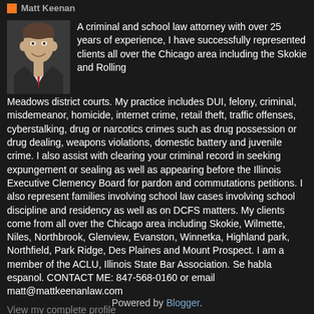[Figure (photo): Headshot photo of Matt Keenan, a man in a dark suit with a red tie, smiling]
A criminal and school law attorney with over 25 years of experience, I have successfully represented clients all over the Chicago area including the Skokie and Rolling Meadows district courts. My practice includes DUI, felony, criminal, misdemeanor, homicide, internet crime, retail theft, traffic offenses, cyberstalking, drug or narcotics crimes such as drug possession or drug dealing, weapons violations, domestic battery and juvenile crime. I also assist with clearing your criminal record in seeking expungement or sealing as well as appearing before the Illinois Executive Clemency Board for pardon and commutations petitions. I also represent families involving school law cases involving school discipline and residency as well as on DCFS matters. My clients come from all over the Chicago area including Skokie, Wilmette, Niles, Northbrook, Glenview, Evanston, Winnetka, Highland park, Northfield, Park Ridge, Des Plaines and Mount Prospect. I am a member of the ACLU, Illinois State Bar Association. Se habla espanol. CONTACT ME: 847-568-0160 or email matt@mattkeenanlaw.com
View my complete profile
Powered by Blogger.